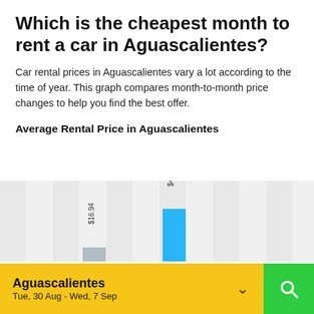Which is the cheapest month to rent a car in Aguascalientes?
Car rental prices in Aguascalientes vary a lot according to the time of year. This graph compares month-to-month price changes to help you find the best offer.
Average Rental Price in Aguascalientes
[Figure (bar-chart): Bar chart showing average rental prices by month in Aguascalientes. Only two bars partially visible: one labeled $16.94 and a taller blue bar labeled $41.85.]
Aguascalientes
Tue, 30 Aug - Wed, 7 Sep